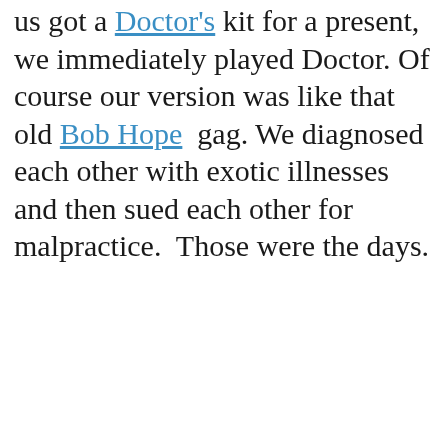us got a Doctor's kit for a present, we immediately played Doctor. Of course our version was like that old Bob Hope  gag. We diagnosed each other with exotic illnesses and then sued each other for malpractice.  Those were the days.
[Figure (other): Broken image placeholder icon — small document icon with green corner, inside a rectangular bordered box]